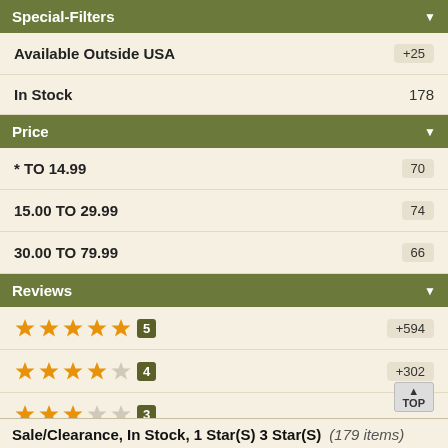Special-Filters
Available Outside USA +25
In Stock 178
Price
* TO 14.99 70
15.00 TO 29.99 74
30.00 TO 79.99 66
Reviews
5 stars +594
4 stars +302
3 stars (partial)
Sale/Clearance, In Stock, 1 Star(S) 3 Star(S) (179 items)